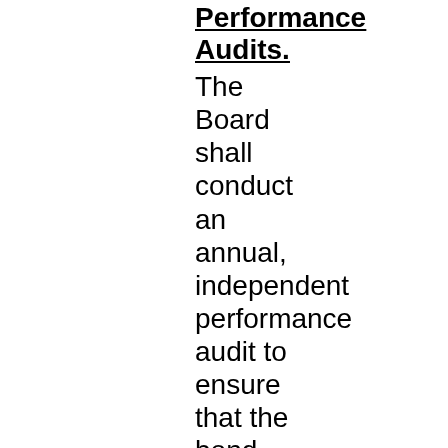Performance Audits.
The Board shall conduct an annual, independent performance audit to ensure that the bond proceeds have been expended only on the school facilities